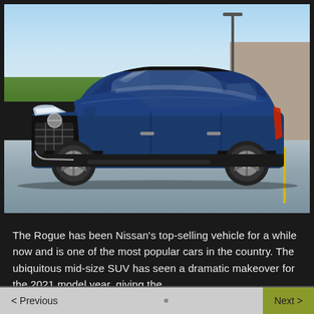[Figure (photo): A blue Nissan Rogue SUV parked in a parking lot on a winter day. The car faces left-front angle. Background shows a blue sky, green grass strip, and a concrete wall on the right. A street light pole is visible behind the car. The parking lot surface appears icy/snowy with a yellow parking line visible.]
The Rogue has been Nissan's top-selling vehicle for a while now and is one of the most popular cars in the country. The ubiquitous mid-size SUV has seen a dramatic makeover for the 2021 model year, giving the
< Previous   Next >